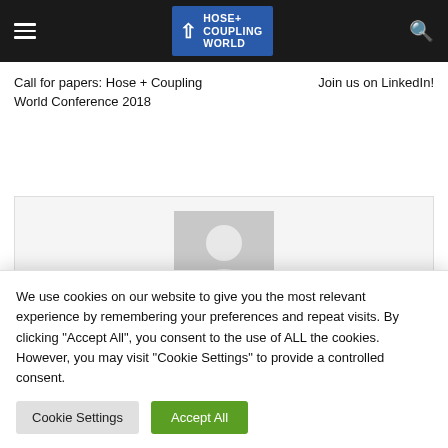[Figure (logo): Hose + Coupling World logo on dark navigation bar with hamburger menu and search icon]
Call for papers: Hose + Coupling World Conference 2018
Join us on LinkedIn!
[Figure (photo): Default author avatar placeholder — grey silhouette of a person on grey background]
We use cookies on our website to give you the most relevant experience by remembering your preferences and repeat visits. By clicking "Accept All", you consent to the use of ALL the cookies. However, you may visit "Cookie Settings" to provide a controlled consent.
Cookie Settings
Accept All